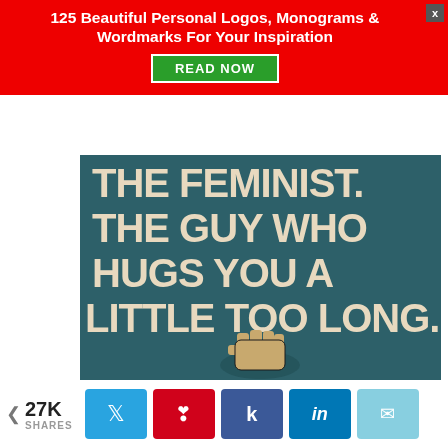125 Beautiful Personal Logos, Monograms & Wordmarks For Your Inspiration
READ NOW
[Figure (photo): Dark teal background with large cream/beige bold text reading 'THE FEMINIST. THE GUY WHO HUGS YOU A LITTLE TOO LONG.' with a raised fist illustration at the bottom center]
< 27K SHARES
Social share buttons: Twitter, Pinterest, Facebook, LinkedIn, Email